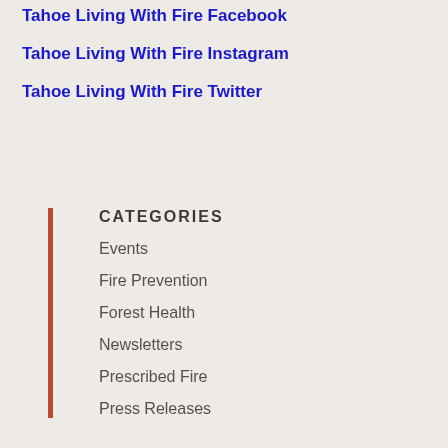Tahoe Living With Fire Facebook
Tahoe Living With Fire Instagram
Tahoe Living With Fire Twitter
CATEGORIES
Events
Fire Prevention
Forest Health
Newsletters
Prescribed Fire
Press Releases